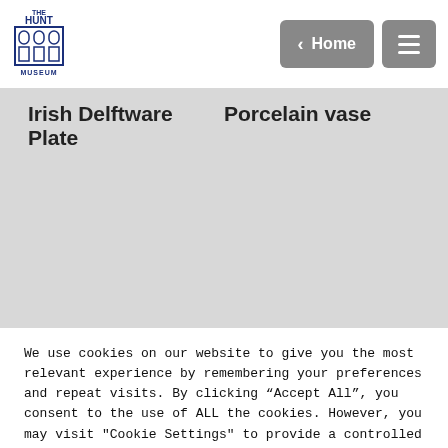[Figure (logo): The Hunt Museum logo — blue building illustration with text THE HUNT MUSEUM]
< Home [hamburger menu button]
Irish Delftware Plate
Porcelain vase
We use cookies on our website to give you the most relevant experience by remembering your preferences and repeat visits. By clicking “Accept All”, you consent to the use of ALL the cookies. However, you may visit "Cookie Settings" to provide a controlled consent.
Cookie Settings | Accept All